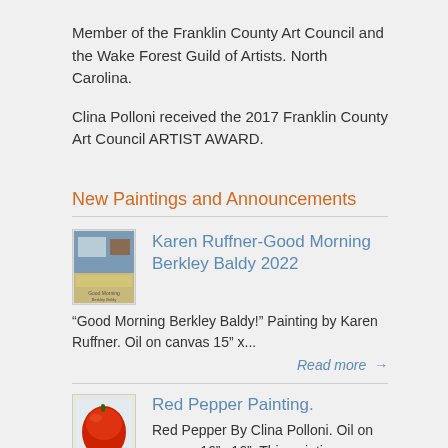Member of the Franklin County Art Council and the Wake Forest Guild of Artists. North Carolina.
Clina Polloni received the 2017 Franklin County Art Council ARTIST AWARD.
New Paintings and Announcements
Karen Ruffner-Good Morning Berkley Baldy 2022
“Good Morning Berkley Baldy!” Painting by Karen Ruffner. Oil on canvas 15” x...
Read more →
Red Pepper Painting.
Red Pepper By Clina Polloni. Oil on canvas 16”x 16”. This painting